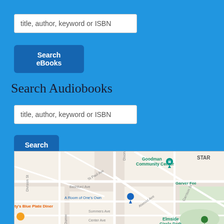title, author, keyword or ISBN
Search eBooks
Search Audiobooks
title, author, keyword or ISBN
Search
[Figure (map): Google map showing Goodman Community Center, A Room of One's Own bookstore, ty's Blue Plate Diner, Garver Fee area, with streets including Division St, St Paul Ave, Dixon St, Bashford Ave, Sommers Ave, Atwood Ave, Garrison St, Center Ave, and Elmside Circle Park visible.]